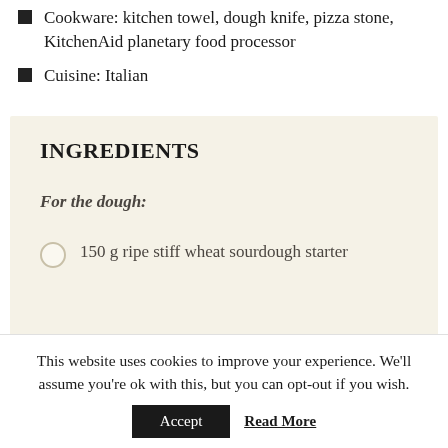Cookware: kitchen towel, dough knife, pizza stone, KitchenAid planetary food processor
Cuisine: Italian
INGREDIENTS
For the dough:
150 g ripe stiff wheat sourdough starter
This website uses cookies to improve your experience. We'll assume you're ok with this, but you can opt-out if you wish.